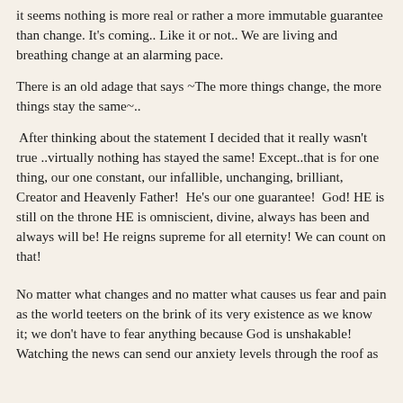it seems nothing is more real or rather a more immutable guarantee than change. It's coming.. Like it or not.. We are living and breathing change at an alarming pace.
There is an old adage that says ~The more things change, the more things stay the same~..
After thinking about the statement I decided that it really wasn't true ..virtually nothing has stayed the same! Except..that is for one thing, our one constant, our infallible, unchanging, brilliant, Creator and Heavenly Father!  He's our one guarantee!  God! HE is still on the throne HE is omniscient, divine, always has been and always will be! He reigns supreme for all eternity! We can count on that!
No matter what changes and no matter what causes us fear and pain as the world teeters on the brink of its very existence as we know it; we don't have to fear anything because God is unshakable! Watching the news can send our anxiety levels through the roof as